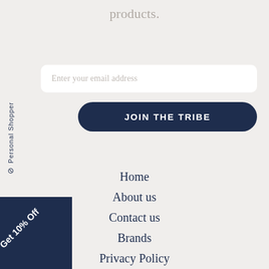products.
Enter your email address
JOIN THE TRIBE
Personal Shopper
Home
About us
Contact us
Brands
Privacy Policy
Return & Exchange
Get 10% Off